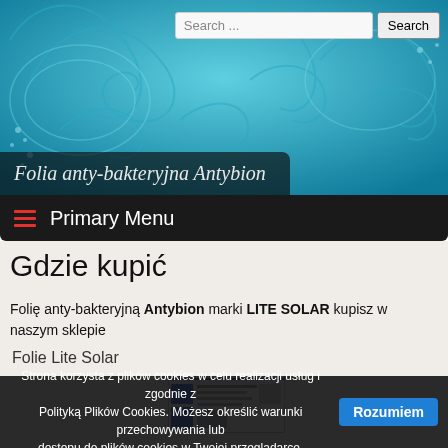[Figure (screenshot): Website header with teal/blue floral decorative background, search bar with 'Search ...' placeholder and 'Search' button]
Folia anty-bakteryjna Antybion
Primary Menu
Gdzie kupić
Folię anty-bakteryjną Antybion marki LITE SOLAR kupisz w naszym sklepie
[Figure (screenshot): Screenshot of Amplus website - a Polish solar film retailer website]
Folie Lite Solar
Strona korzysta z plików cookies w celu realizacji usług i zgodnie z Polityką Plików Cookies. Możesz określić warunki przechowywania lub dostępu do plików cookies w Twojej przeglądarce. Rozumiem